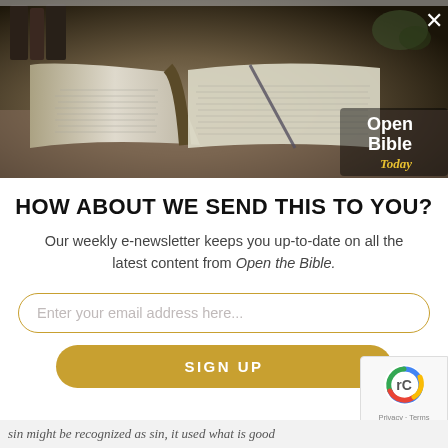[Figure (photo): Open Bible with spiral binding, books in background, plant in upper right, dark/moody lighting. Open Bible Today logo in lower right of photo.]
HOW ABOUT WE SEND THIS TO YOU?
Our weekly e-newsletter keeps you up-to-date on all the latest content from Open the Bible.
Enter your email address here...
SIGN UP
sin might be recognized as sin, it used what is good